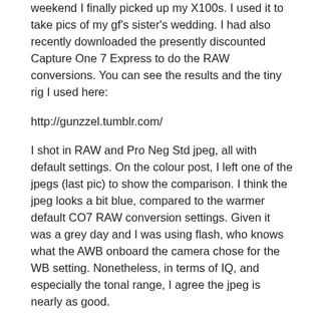weekend I finally picked up my X100s. I used it to take pics of my gf's sister's wedding. I had also recently downloaded the presently discounted Capture One 7 Express to do the RAW conversions. You can see the results and the tiny rig I used here:
http://gunzzel.tumblr.com/
I shot in RAW and Pro Neg Std jpeg, all with default settings. On the colour post, I left one of the jpegs (last pic) to show the comparison. I think the jpeg looks a bit blue, compared to the warmer default CO7 RAW conversion settings. Given it was a grey day and I was using flash, who knows what the AWB onboard the camera chose for the WB setting. Nonetheless, in terms of IQ, and especially the tonal range, I agree the jpeg is nearly as good.
Many people have said they've noticed only incremental difference in the IQ between the X100 and X100s. Maybe they're not people